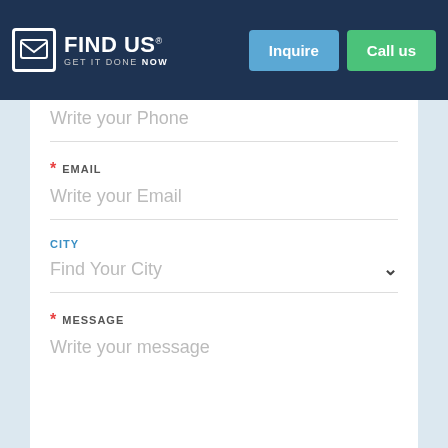FIND US GET IT DONE NOW — Inquire | Call us
PHONE — Write your Phone
* EMAIL
Write your Email
CITY
Find Your City
* MESSAGE
Write your message